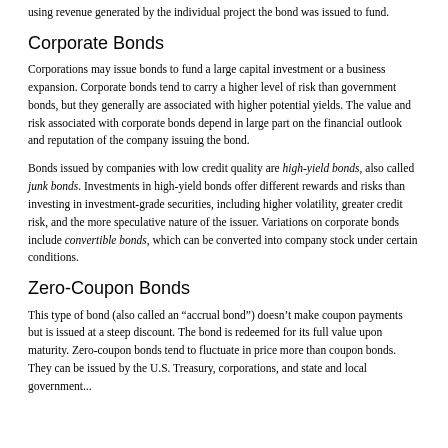using revenue generated by the individual project the bond was issued to fund.
Corporate Bonds
Corporations may issue bonds to fund a large capital investment or a business expansion. Corporate bonds tend to carry a higher level of risk than government bonds, but they generally are associated with higher potential yields. The value and risk associated with corporate bonds depend in large part on the financial outlook and reputation of the company issuing the bond.
Bonds issued by companies with low credit quality are high-yield bonds, also called junk bonds. Investments in high-yield bonds offer different rewards and risks than investing in investment-grade securities, including higher volatility, greater credit risk, and the more speculative nature of the issuer. Variations on corporate bonds include convertible bonds, which can be converted into company stock under certain conditions.
Zero-Coupon Bonds
This type of bond (also called an “accrual bond”) doesn’t make coupon payments but is issued at a steep discount. The bond is redeemed for its full value upon maturity. Zero-coupon bonds tend to fluctuate in price more than coupon bonds. They can be issued by the U.S. Treasury, corporations, and state and local government...